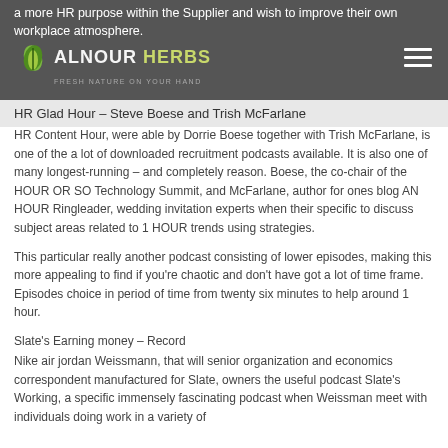a more HR purpose within the Supplier and wish to improve their own workplace atmosphere.
ALNOUR HERBS — Fresh Nature on Your Hand
HR Glad Hour – Steve Boese and Trish McFarlane
HR Content Hour, were able by Dorrie Boese together with Trish McFarlane, is one of the a lot of downloaded recruitment podcasts available. It is also one of many longest-running – and completely reason. Boese, the co-chair of the HOUR OR SO Technology Summit, and McFarlane, author for ones blog AN HOUR Ringleader, wedding invitation experts when their specific to discuss subject areas related to 1 HOUR trends using strategies.
This particular really another podcast consisting of lower episodes, making this more appealing to find if you're chaotic and don't have got a lot of time frame. Episodes choice in period of time from twenty six minutes to help around 1 hour.
Slate's Earning money – Record
Nike air jordan Weissmann, that will senior organization and economics correspondent manufactured for Slate, owners the useful podcast Slate's Working, a specific immensely fascinating podcast when Weissman meet with individuals doing work in a variety of